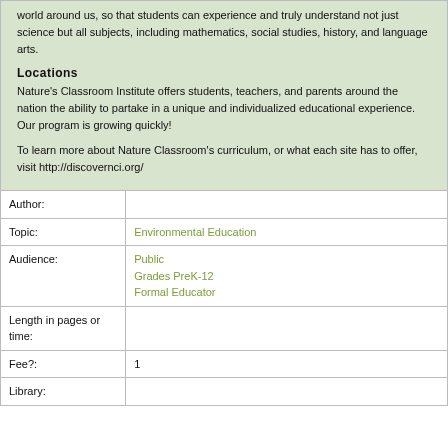world around us, so that students can experience and truly understand not just science but all subjects, including mathematics, social studies, history, and language arts.
Locations
Nature's Classroom Institute offers students, teachers, and parents around the nation the ability to partake in a unique and individualized educational experience. Our program is growing quickly!
To learn more about Nature Classroom's curriculum, or what each site has to offer, visit http://discovernci.org/
| Field | Value |
| --- | --- |
| Author: |  |
| Topic: | Environmental Education |
| Audience: | Public
Grades PreK-12
Formal Educator |
| Length in pages or time: |  |
| Fee?: | 1 |
| Library: |  |